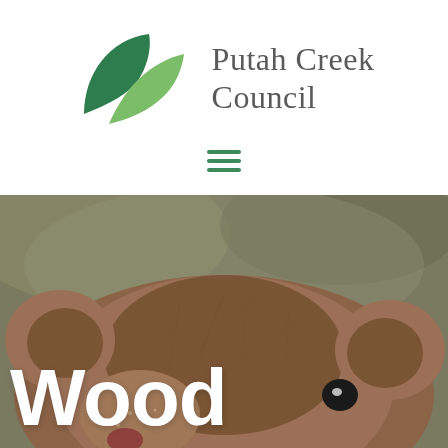[Figure (logo): Putah Creek Council logo with two overlapping green leaf shapes and organization name text]
[Figure (illustration): Hamburger/menu icon with three green horizontal lines]
[Figure (photo): Close-up photograph of a wood rat (muskrat or similar small mammal) face with brown fur, small ears, and dark eyes, with large white bold text 'Wood' overlaid at the bottom left]
Wood